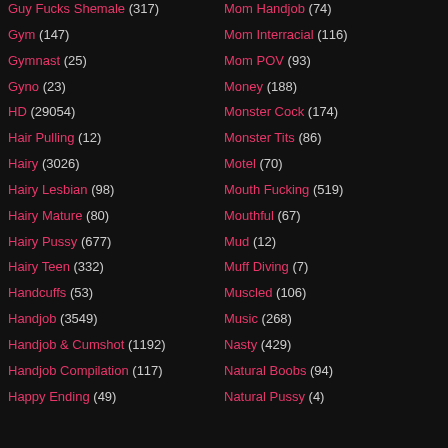Guy Fucks Shemale (317)
Mom Handjob (74)
Gym (147)
Mom Interracial (116)
Gymnast (25)
Mom POV (93)
Gyno (23)
Money (188)
HD (29054)
Monster Cock (174)
Hair Pulling (12)
Monster Tits (86)
Hairy (3026)
Motel (70)
Hairy Lesbian (98)
Mouth Fucking (519)
Hairy Mature (80)
Mouthful (67)
Hairy Pussy (677)
Mud (12)
Hairy Teen (332)
Muff Diving (7)
Handcuffs (53)
Muscled (106)
Handjob (3549)
Music (268)
Handjob & Cumshot (1192)
Nasty (429)
Handjob Compilation (117)
Natural Boobs (94)
Happy Ending (49)
Natural Pussy (4)